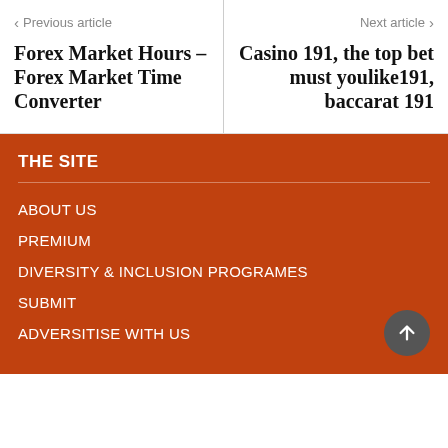< Previous article
Forex Market Hours – Forex Market Time Converter
Next article >
Casino 191, the top bet must youlike191, baccarat 191
THE SITE
ABOUT US
PREMIUM
DIVERSITY & INCLUSION PROGRAMES
SUBMIT
ADVERSITISE WITH US